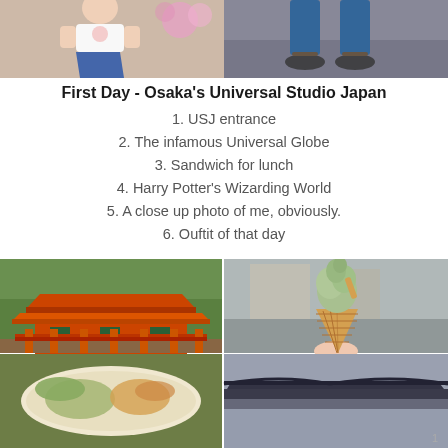[Figure (photo): Top photo strip showing two images side by side: left image of a person in a white shirt/blue skirt, right image of feet/sandals against a grey background.]
First Day - Osaka's Universal Studio Japan
1. USJ entrance
2. The infamous Universal Globe
3. Sandwich for lunch
4. Harry Potter's Wizarding World
5. A close up photo of me, obviously.
6. Ouftit of that day
[Figure (photo): 2x2 grid of photos: top-left shows a red Japanese temple/shrine building with ornate architecture, top-right shows a green matcha soft-serve ice cream cone being held, bottom-left shows a bowl of Japanese food, bottom-right shows a dark Japanese shrine roofline.]
1